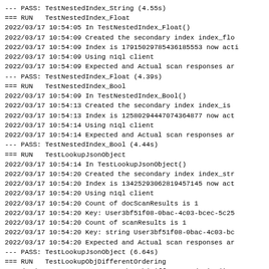--- PASS: TestNestedIndex_String (4.55s)
=== RUN   TestNestedIndex_Float
2022/03/17 10:54:05 In TestNestedIndex_Float()
2022/03/17 10:54:09 Created the secondary index index_flo
2022/03/17 10:54:09 Index is 17915029785436185553 now acti
2022/03/17 10:54:09 Using n1ql client
2022/03/17 10:54:09 Expected and Actual scan responses ar
--- PASS: TestNestedIndex_Float (4.39s)
=== RUN   TestNestedIndex_Bool
2022/03/17 10:54:09 In TestNestedIndex_Bool()
2022/03/17 10:54:13 Created the secondary index index_is
2022/03/17 10:54:13 Index is 12580294447074364877 now act
2022/03/17 10:54:14 Using n1ql client
2022/03/17 10:54:14 Expected and Actual scan responses ar
--- PASS: TestNestedIndex_Bool (4.44s)
=== RUN   TestLookupJsonObject
2022/03/17 10:54:14 In TestLookupJsonObject()
2022/03/17 10:54:20 Created the secondary index index_str
2022/03/17 10:54:20 Index is 13425293062819457145 now act
2022/03/17 10:54:20 Using n1ql client
2022/03/17 10:54:20 Count of docScanResults is 1
2022/03/17 10:54:20 Key: User3bf51f08-0bac-4c03-bcec-5c25
2022/03/17 10:54:20 Count of scanResults is 1
2022/03/17 10:54:20 Key: string User3bf51f08-0bac-4c03-bc
2022/03/17 10:54:20 Expected and Actual scan responses ar
--- PASS: TestLookupJsonObject (6.64s)
=== RUN   TestLookupObjDifferentOrdering
2022/03/17 10:54:20 In TestLookupObjDifferentOrdering()
2022/03/17 10:54:20 Index found:  index_streetaddress
2022/03/17 10:54:20 Using n1ql client